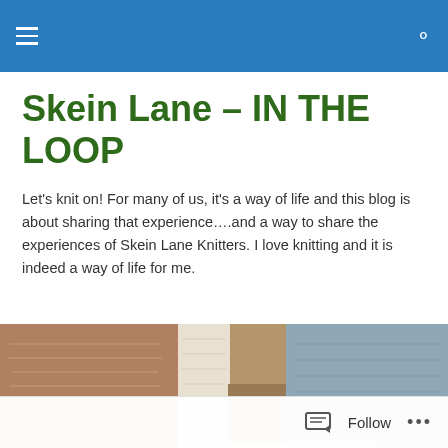[navigation bar with hamburger menu and search icon]
Skein Lane – IN THE LOOP
Let's knit on! For many of us, it's a way of life and this blog is about sharing that experience….and a way to share the experiences of Skein Lane Knitters. I love knitting and it is indeed a way of life for me.
[Figure (photo): Close-up photo of knitted fabric showing multiple colors and textures including brown, cream/white, and blue-grey yarn sections with various stitch patterns]
TAGGED WITH VALENTINE'S DAY
Happy Valentine's Day
Follow